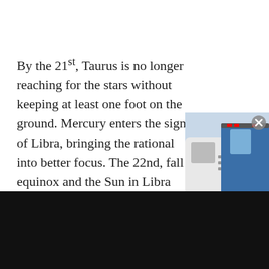By the 21st, Taurus is no longer reaching for the stars without keeping at least one foot on the ground. Mercury enters the sign of Libra, bringing the rational into better focus. The 22nd, fall equinox and the Sun in Libra influences allow fo... feel better about i...
A Full Moon arrive... Taureans looking t...
[Figure (photo): A white car being towed by a blue tow truck, partially overlapping the article text as an advertisement or popup overlay.]